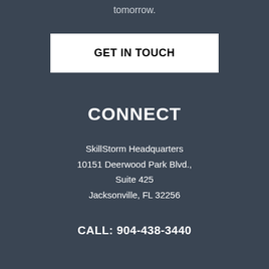tomorrow.
GET IN TOUCH
CONNECT
SkillStorm Headquarters
10151 Deerwood Park Blvd.,
Suite 425
Jacksonville, FL 32256
CALL: 904-438-3440